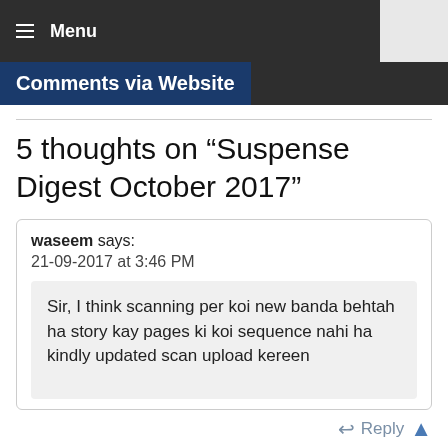Menu
Comments via Website
5 thoughts on “Suspense Digest October 2017”
waseem says:
21-09-2017 at 3:46 PM
Sir, I think scanning per koi new banda behtah ha story kay pages ki koi sequence nahi ha kindly updated scan upload kereen
Zagham says:
21-09-2017 at 6:26 PM